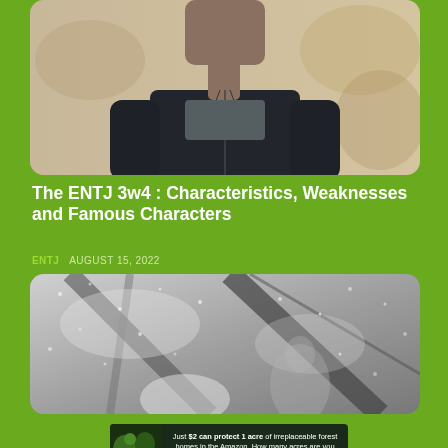[Figure (photo): Person wearing a dark jacket outdoors with blurred background]
The ENTJ 3w4 : Characteristics, Weaknesses and Famous Characters
ENTJ   AUGUST 15, 2022
[Figure (photo): Black and white close-up of rain on an umbrella, person in background]
[Figure (photo): Advertisement banner: Just $2 can protect 1 acre of irreplaceable forest homes in the Amazon. How many acres are you willing to protect? PROTECT FORESTS NOW]